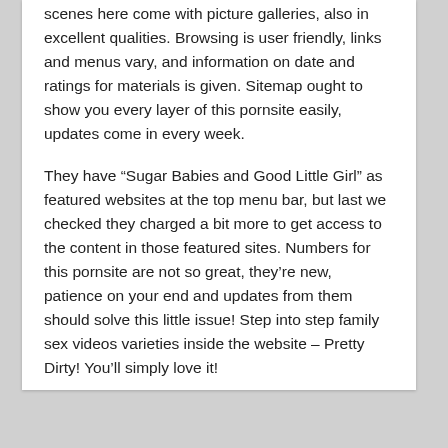scenes here come with picture galleries, also in excellent qualities. Browsing is user friendly, links and menus vary, and information on date and ratings for materials is given. Sitemap ought to show you every layer of this pornsite easily, updates come in every week.
They have “Sugar Babies and Good Little Girl” as featured websites at the top menu bar, but last we checked they charged a bit more to get access to the content in those featured sites. Numbers for this pornsite are not so great, they’re new, patience on your end and updates from them should solve this little issue! Step into step family sex videos varieties inside the website – Pretty Dirty! You’ll simply love it!